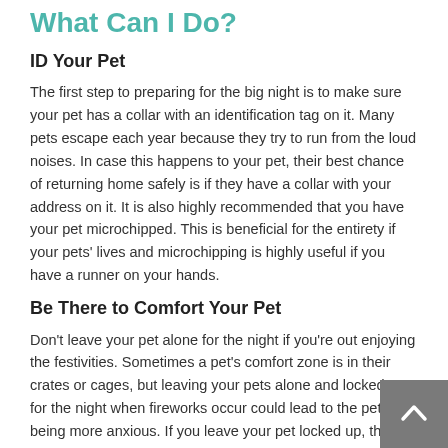What Can I Do?
ID Your Pet
The first step to preparing for the big night is to make sure your pet has a collar with an identification tag on it. Many pets escape each year because they try to run from the loud noises. In case this happens to your pet, their best chance of returning home safely is if they have a collar with your address on it. It is also highly recommended that you have your pet microchipped. This is beneficial for the entirety if your pets' lives and microchipping is highly useful if you have a runner on your hands.
Be There to Comfort Your Pet
Don't leave your pet alone for the night if you're out enjoying the festivities. Sometimes a pet's comfort zone is in their crates or cages, but leaving your pets alone and locked up for the night when fireworks occur could lead to the pet being more anxious. If you leave your pet locked up, there's a